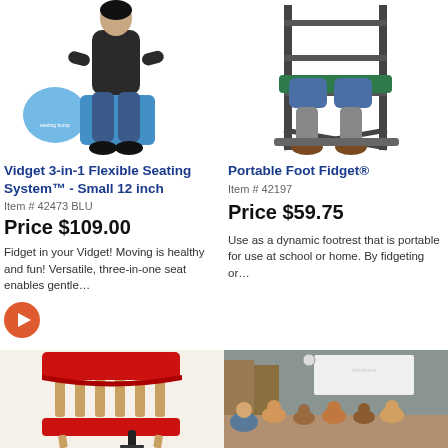[Figure (photo): Person sitting on a blue Vidget flexible seating cushion, wearing dark clothes and sneakers, with a close-up bubble showing the seating bump detail. White background.]
[Figure (photo): Person sitting in a tall metal/dark chair frame showing legs and feet positioned on a Portable Foot Fidget footrest. White background.]
Vidget 3-in-1 Flexible Seating System™ - Small 12 inch
Item # 42473 BLU
Price $109.00
Fidget in your Vidget! Moving is healthy and fun! Versatile, three-in-one seat enables gentle…
[Figure (other): Red circular play button icon]
Portable Foot Fidget®
Item # 42197
Price $59.75
Use as a dynamic footrest that is portable for use at school or home. By fidgeting or…
[Figure (photo): Wooden chair with red fabric seat cover/band and strap, showing chair back slats. Beige/wood tones with red accent.]
[Figure (photo): Classroom scene with children sitting on the floor in a circle, teacher seated among them, classroom furniture and whiteboard visible in background.]